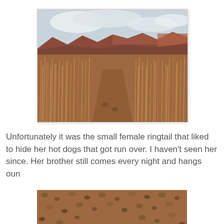[Figure (photo): Outdoor desert landscape photo showing dry brown/rust-colored tall grasses and scrub brush in the foreground, red rock cliffs and mesas in the background, under a cloudy grey-blue sky.]
Unfortunately it was the small female ringtail that liked to hide her hot dogs that got run over. I haven't seen her since. Her brother still comes every night and hangs oun
[Figure (photo): Close-up photo of a small animal (ringtail or similar) lying on rocky reddish-brown gravel ground, shot from above.]